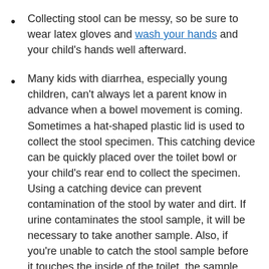Collecting stool can be messy, so be sure to wear latex gloves and wash your hands and your child's hands well afterward.
Many kids with diarrhea, especially young children, can't always let a parent know in advance when a bowel movement is coming. Sometimes a hat-shaped plastic lid is used to collect the stool specimen. This catching device can be quickly placed over the toilet bowl or your child's rear end to collect the specimen. Using a catching device can prevent contamination of the stool by water and dirt. If urine contaminates the stool sample, it will be necessary to take another sample. Also, if you're unable to catch the stool sample before it touches the inside of the toilet, the sample will need to be repeated. Fishing a bowel movement